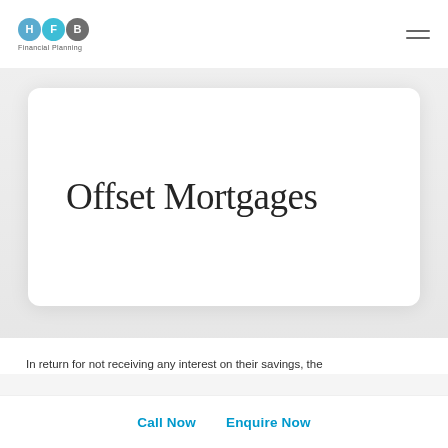[Figure (logo): HFB Financial Planning logo with three colored circles labeled H, F, B and text 'Financial Planning' below]
Offset Mortgages
In return for not receiving any interest on their savings, the
Call Now   Enquire Now